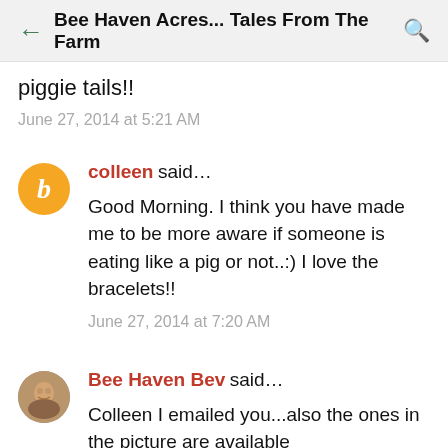Bee Haven Acres... Tales From The Farm
piggie tails!!
June 27, 2014 at 5:21 AM
colleen said...
Good Morning. I think you have made me to be more aware if someone is eating like a pig or not..:) I love the bracelets!!
June 27, 2014 at 7:20 AM
Bee Haven Bev said...
Colleen I emailed you...also the ones in the picture are available